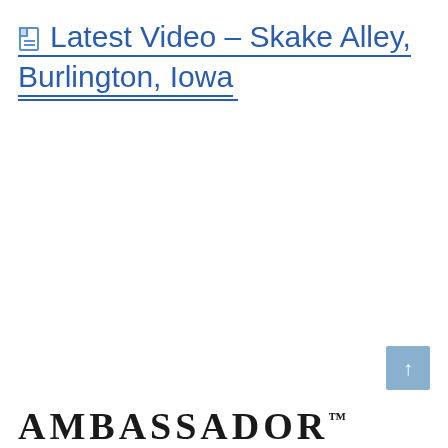Latest Video – Skake Alley, Burlington, Iowa
[Figure (logo): AMBASSADOR™ text logo at bottom of page]
[Figure (other): Scroll-to-top button with upward arrow in light blue]